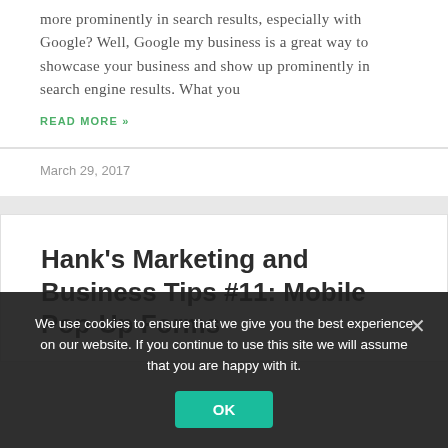more prominently in search results, especially with Google? Well, Google my business is a great way to showcase your business and show up prominently in search engine results. What you
READ MORE »
March 29, 2017
Hank's Marketing and Business Tips #11: Mobile Pop-Up Forms
We use cookies to ensure that we give you the best experience on our website. If you continue to use this site we will assume that you are happy with it.
OK